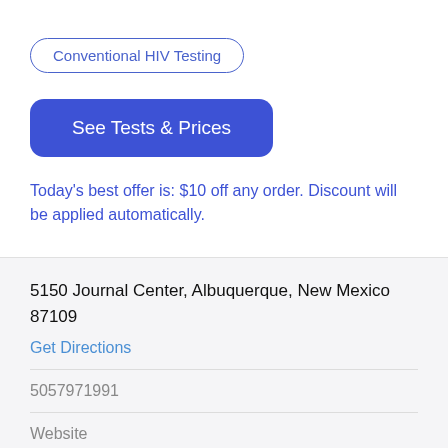Conventional HIV Testing
See Tests & Prices
Today's best offer is: $10 off any order. Discount will be applied automatically.
5150 Journal Center, Albuquerque, New Mexico 87109
Get Directions
5057971991
Website
Appointment Required: No